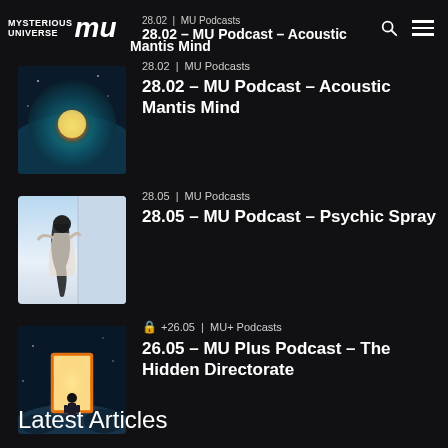MYSTERIOUS UNIVERSE | MU logo
28.02 | MU Podcasts
28.02 – MU Podcast – Acoustic Mantis Mind
[Figure (photo): Cosmic/sun artwork for MU Podcast thumbnail]
28.05 | MU Podcasts
28.05 – MU Podcast – Psychic Spray
[Figure (photo): Levitating figure in white/blue tones for Psychic Spray podcast thumbnail]
🔒 +26.05 | MU+ Podcasts
26.05 – MU Plus Podcast – The Hidden Directorate
[Figure (photo): Astronaut figure at glowing orange doorway for The Hidden Directorate podcast thumbnail]
Latest Articles